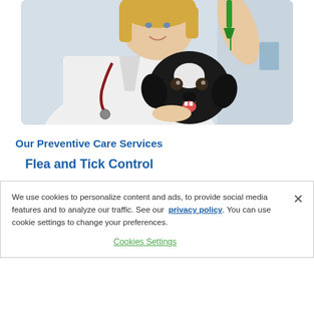[Figure (photo): A female veterinarian in a white lab coat with a stethoscope applies a green flea and tick treatment to a black and white Boston Terrier dog. The vet is smiling and holding the dog's head gently.]
Our Preventive Care Services
Flea and Tick Control
We use cookies to personalize content and ads, to provide social media features and to analyze our traffic. See our privacy policy. You can use cookie settings to change your preferences.
Cookies Settings